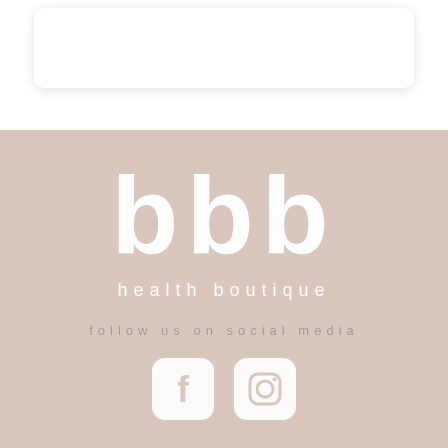[Figure (logo): bbb health boutique logo — large white 'bbb' letters above 'health boutique' text in white, on a dusty rose/beige background]
follow us on social media
[Figure (illustration): Facebook and Instagram social media icons as white rounded square buttons with white outlines on dusty rose background]